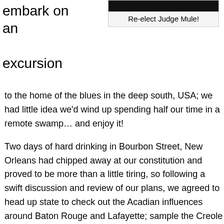embark on an excursion
[Figure (other): Advertisement box with black banner image and caption 'Re-elect Judge Mule!']
Re-elect Judge Mule!
to the home of the blues in the deep south, USA; we had little idea we'd wind up spending half our time in a remote swamp… and enjoy it!
Two days of hard drinking in Bourbon Street, New Orleans had chipped away at our constitution and proved to be more than a little tiring, so following a swift discussion and review of our plans, we agreed to head up state to check out the Acadian influences around Baton Rouge and Lafayette; sample the Creole food and listen to some traditional Zydeco music. While we were in the vicinity we also figured a quick sortie into the Atchafalaya swamp basin might be a great way to kill half a day or more.